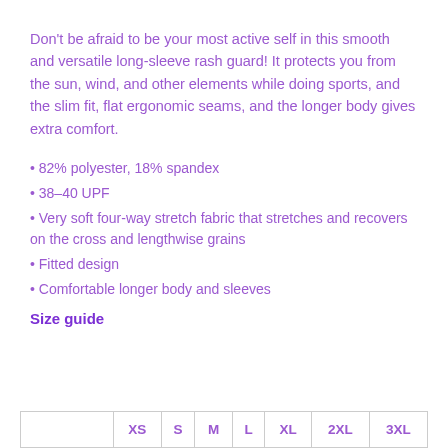Don't be afraid to be your most active self in this smooth and versatile long-sleeve rash guard! It protects you from the sun, wind, and other elements while doing sports, and the slim fit, flat ergonomic seams, and the longer body gives extra comfort.
82% polyester, 18% spandex
38–40 UPF
Very soft four-way stretch fabric that stretches and recovers on the cross and lengthwise grains
Fitted design
Comfortable longer body and sleeves
Size guide
|  | XS | S | M | L | XL | 2XL | 3XL |
| --- | --- | --- | --- | --- | --- | --- | --- |